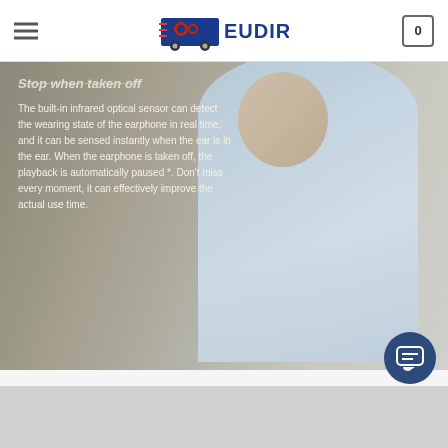EUDIRECT — navigation header with menu, logo, and cart (0 items)
[Figure (photo): Man wearing a light blue button-down shirt putting a wireless earbud in his ear, against a gray wall background. Overlay text describes product features.]
Stop when taken off
The built-in infrared optical sensor can detect the wearing state of the earphone in real time, and it can be sensed instantly when the ear is in the ear. When the earphone is taken off, the playback is automatically paused *. Don't miss every moment, it can effectively improve the actual use time.
Binaural synchronous transmission
25% Compared with the previous generation, the single battery life is improved
70% Compared with the previous generation, the total battery life is improved